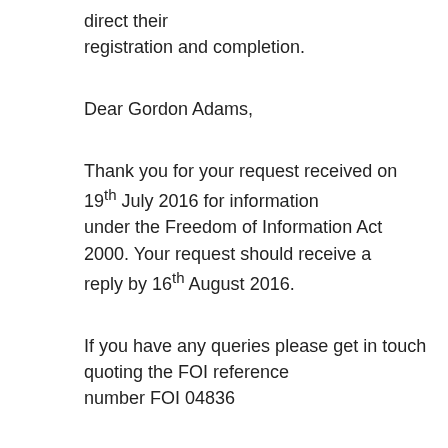direct their registration and completion.
Dear Gordon Adams,
Thank you for your request received on 19^th July 2016 for information under the Freedom of Information Act 2000. Your request should receive a reply by 16^th August 2016.
If you have any queries please get in touch quoting the FOI reference number FOI 04836